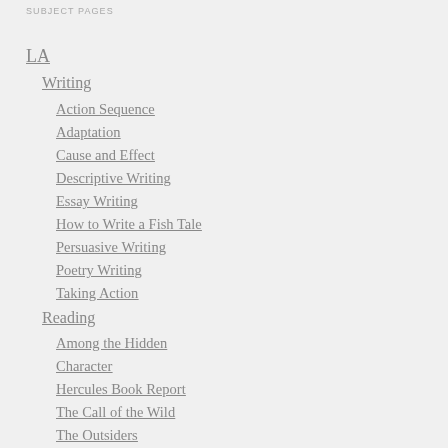SUBJECT PAGES
LA
Writing
Action Sequence
Adaptation
Cause and Effect
Descriptive Writing
Essay Writing
How to Write a Fish Tale
Persuasive Writing
Poetry Writing
Taking Action
Reading
Among the Hidden
Character
Hercules Book Report
The Call of the Wild
The Outsiders